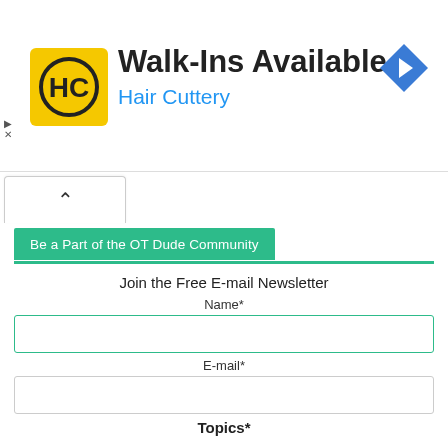[Figure (infographic): Hair Cuttery advertisement banner: yellow square logo with HC initials in black circle, bold text 'Walk-Ins Available', blue subtitle 'Hair Cuttery', blue diamond navigation arrow icon on right. Small play and X controls on left side.]
[Figure (screenshot): A white tab/button with an upward caret (^) symbol, indicating a collapsible section tab.]
Be a Part of the OT Dude Community
Join the Free E-mail Newsletter
Name*
E-mail*
Topics*